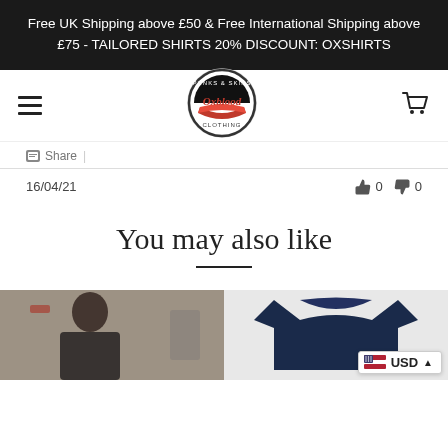Free UK Shipping above £50 & Free International Shipping above £75 - TAILORED SHIRTS 20% DISCOUNT: OXSHIRTS
[Figure (logo): Oxblood Clothing logo - circular badge with 'Punks & Skins' text and 'Oxblood Clothing' script]
Share |
16/04/21  👍 0  👎 0
You may also like
[Figure (photo): Product photo 1: Man wearing clothing item]
[Figure (photo): Product photo 2: Navy blue t-shirt folded]